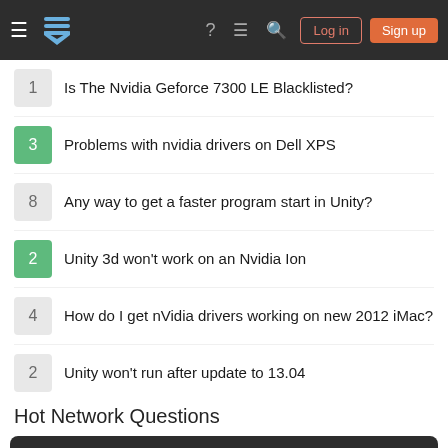Stack Exchange navigation bar with hamburger menu, logo, help, chat, search, Log in, Sign up
1 Is The Nvidia Geforce 7300 LE Blacklisted?
3 Problems with nvidia drivers on Dell XPS
8 Any way to get a faster program start in Unity?
2 Unity 3d won't work on an Nvidia Ion
4 How do I get nVidia drivers working on new 2012 iMac?
2 Unity won't run after update to 13.04
Hot Network Questions
Your privacy
By clicking "Accept all cookies", you agree Stack Exchange can store cookies on your device and disclose information in accordance with our Cookie Policy.
Accept all cookies   Customize settings